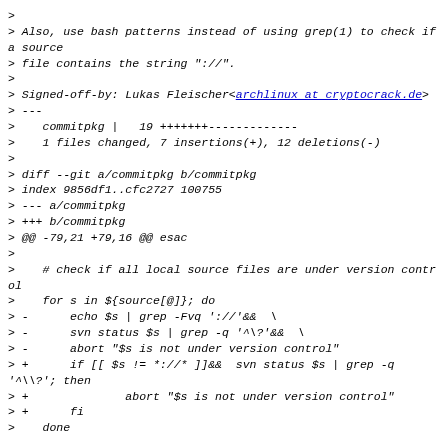> 
> Also, use bash patterns instead of using grep(1) to check if a source
> file contains the string "://".
>
> Signed-off-by: Lukas Fleischer<archlinux at cryptocrack.de>
> ---
>    commitpkg |   19 +++++++-------------
>    1 files changed, 7 insertions(+), 12 deletions(-)
>
> diff --git a/commitpkg b/commitpkg
> index 9856df1..cfc2727 100755
> --- a/commitpkg
> +++ b/commitpkg
> @@ -79,21 +79,16 @@ esac
>
>    # check if all local source files are under version control
>    for s in ${source[@]}; do
> -      echo $s | grep -Fvq '://'&&  \
> -      svn status $s | grep -q '^\?'&&  \
> -      abort "$s is not under version control"
> +      if [[ $s != *://* ]]&&  svn status $s | grep -q '^\?'; then
> +              abort "$s is not under version control"
> +      fi
>    done